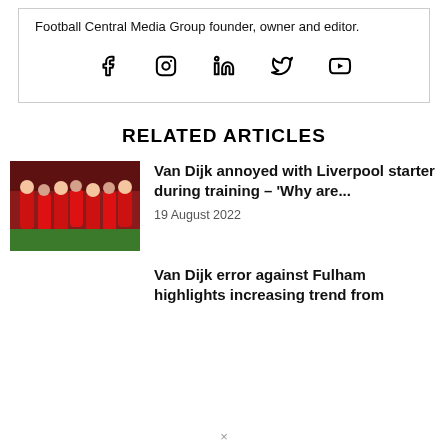Football Central Media Group founder, owner and editor.
[Figure (infographic): Social media icons: Facebook, Instagram, LinkedIn, Twitter, YouTube]
RELATED ARTICLES
[Figure (photo): Liverpool players in red kits celebrating on a football pitch]
Van Dijk annoyed with Liverpool starter during training – 'Why are...
19 August 2022
Van Dijk error against Fulham highlights increasing trend from